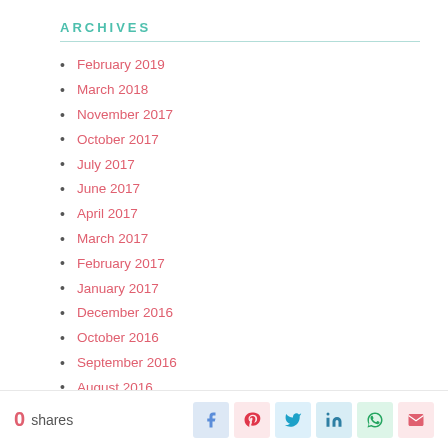ARCHIVES
February 2019
March 2018
November 2017
October 2017
July 2017
June 2017
April 2017
March 2017
February 2017
January 2017
December 2016
October 2016
September 2016
August 2016
July 2016
June 2016
May 2016
0 shares